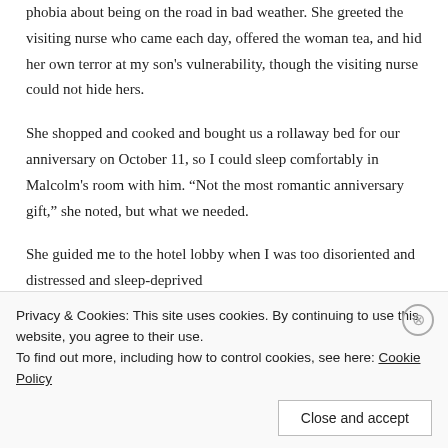phobia about being on the road in bad weather. She greeted the visiting nurse who came each day, offered the woman tea, and hid her own terror at my son's vulnerability, though the visiting nurse could not hide hers.
She shopped and cooked and bought us a rollaway bed for our anniversary on October 11, so I could sleep comfortably in Malcolm's room with him. “Not the most romantic anniversary gift,” she noted, but what we needed.
She guided me to the hotel lobby when I was too disoriented and distressed and sleep-deprived
Privacy & Cookies: This site uses cookies. By continuing to use this website, you agree to their use.
To find out more, including how to control cookies, see here: Cookie Policy
Close and accept